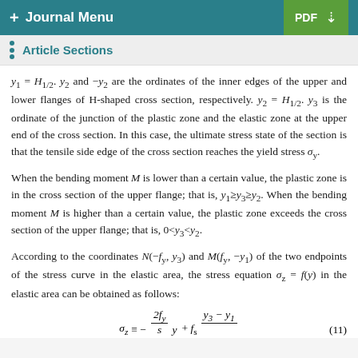+ Journal Menu  PDF ↓
Article Sections
y1 = H1/2. y2 and −y2 are the ordinates of the inner edges of the upper and lower flanges of H-shaped cross section, respectively. y2 = H1/2. y3 is the ordinate of the junction of the plastic zone and the elastic zone at the upper end of the cross section. In this case, the ultimate stress state of the section is that the tensile side edge of the cross section reaches the yield stress σy.
When the bending moment M is lower than a certain value, the plastic zone is in the cross section of the upper flange; that is, y1≥y3≥y2. When the bending moment M is higher than a certain value, the plastic zone exceeds the cross section of the upper flange; that is, 0<y3<y2.
According to the coordinates N(−fy, y3) and M(fy, −y1) of the two endpoints of the stress curve in the elastic area, the stress equation σz = f(y) in the elastic area can be obtained as follows: